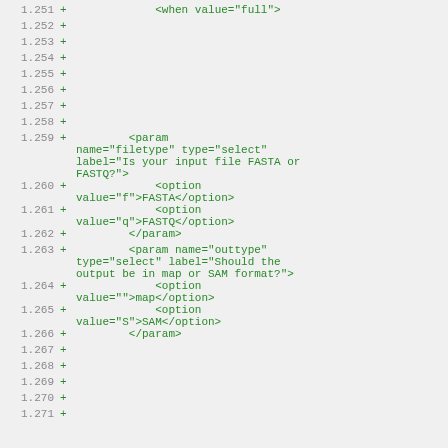Code diff showing XML configuration lines 1.251–1.271 with additions (+) for param elements defining filetype and outtype select parameters with FASTA/FASTQ and map/SAM options